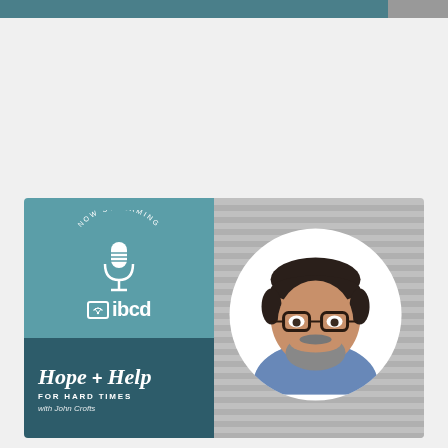[Figure (other): Podcast promotional card for 'Hope + Help for Hard Times with John Crofts' — ibcd podcast, now streaming. Left side has teal background with microphone icon and ibcd logo. Right side shows circular headshot photo of John Crofts, a man with glasses and beard smiling.]